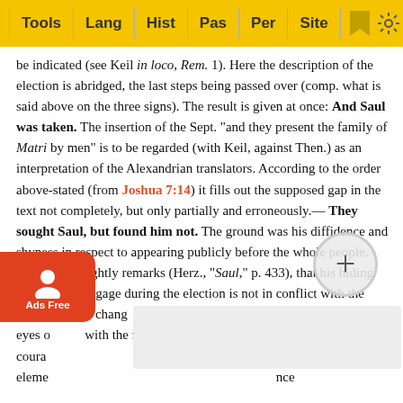Tools | Lang | Hist | Pas | Per | Site
be indicated (see Keil in loco, Rem. 1). Here the description of the election is abridged, the last steps being passed over (comp. what is said above on the three signs). The result is given at once: And Saul was taken. The insertion of the Sept. "and they present the family of Matri by men" is to be regarded (with Keil, against Then.) as an interpretation of the Alexandrian translators. According to the order above-stated (from Joshua 7:14) it fills out the supposed gap in the text not completely, but only partially and erroneously.— They sought Saul, but found him not. The ground was his diffidence and shyness in respect to appearing publicly before the whole people. Nägelsbach rightly remarks (Herz., "Saul," p. 433), that his hiding behind the baggage during the election is not in conflict with the account of his change. "At so decisive a moment, which turns the eyes of men with the most diverse feelings, the heart of the most courageous man has an element of reverence